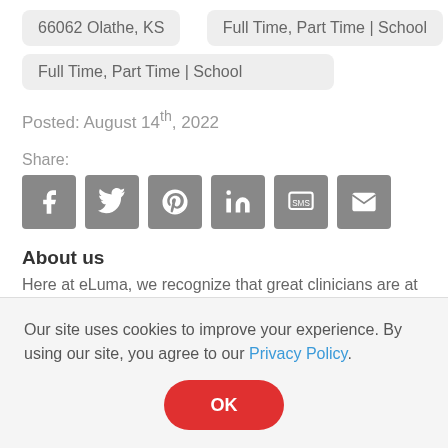66062 Olathe, KS
Full Time, Part Time | School
Posted: August 14th, 2022
Share:
[Figure (infographic): Six social share icon buttons: Facebook, Twitter, Pinterest, LinkedIn, SMS, Email]
About us
Here at eLuma, we recognize that great clinicians are at the heart of what we do. We are only as good as our therapists, and we are committed to providing the best clinician
Our site uses cookies to improve your experience. By using our site, you agree to our Privacy Policy.